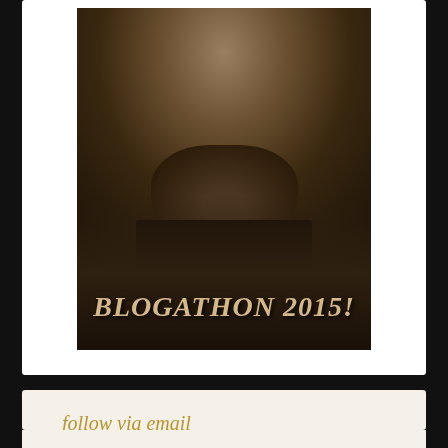[Figure (photo): Sepia-toned photo of a bearded man cropped at chin level with text overlay reading BLOGATHON 2015! in bold italic serif font]
follow via email
Enter your email addy to follow!